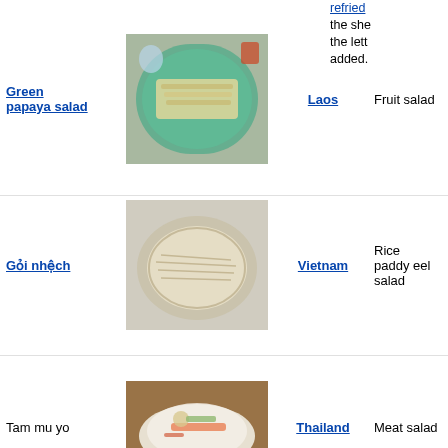refried the she the lett added.
[Figure (photo): Green papaya salad on a blue plate]
Green papaya salad
Laos
Fruit salad
Made f shredd unrepen papaya often s with st
[Figure (photo): Gỏi nhệch - rice paddy eel salad in a bowl]
Gỏi nhệch
Vietnam
Rice paddy eel salad
A Vietn salad m small f usual condin Gỏi.
[Figure (photo): Tam mu yo - Thai meat salad on a plate]
Tam mu yo
Thailand
Meat salad
A spicy salad m mu yo, pork sa which also de Thailan "Vietna